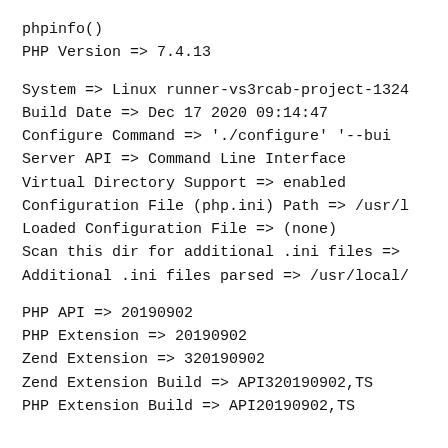phpinfo()
PHP Version => 7.4.13
System => Linux runner-vs3rcab-project-1324
Build Date => Dec 17 2020 09:14:47
Configure Command =>  './configure'  '--bui
Server API => Command Line Interface
Virtual Directory Support => enabled
Configuration File (php.ini) Path => /usr/l
Loaded Configuration File => (none)
Scan this dir for additional .ini files =>
Additional .ini files parsed => /usr/local/
PHP API => 20190902
PHP Extension => 20190902
Zend Extension => 320190902
Zend Extension Build => API320190902,TS
PHP Extension Build => API20190902,TS